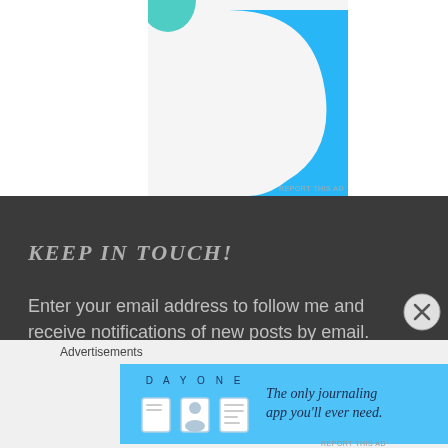[Figure (illustration): Partial view of an app icon or logo with teal/green and blue shapes on white background, with 'REPORT THIS AD' text below]
KEEP IN TOUCH!
Enter your email address to follow me and receive notifications of new posts by email.
Enter your email address
FOLLOW
Advertisements
[Figure (screenshot): Day One journaling app advertisement: blue background with app icons and text 'The only journaling app you'll ever need.']